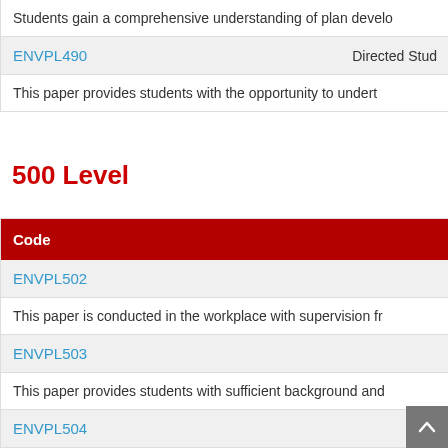Students gain a comprehensive understanding of plan develo
ENVPL490
Directed Stud
This paper provides students with the opportunity to undert
500 Level
| Code |
| --- |
| ENVPL502 |
| This paper is conducted in the workplace with supervision fr |
| ENVPL503 |
| This paper provides students with sufficient background and |
| ENVPL504 |